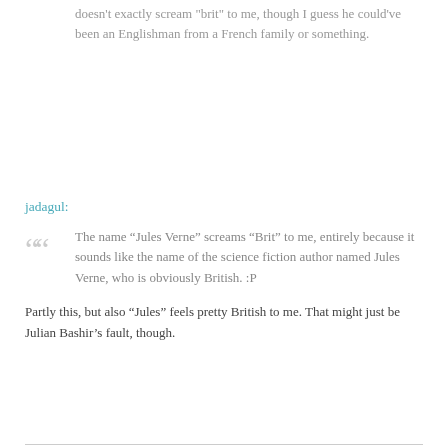doesn't exactly scream "brit" to me, though I guess he could've been an Englishman from a French family or something.
jadagul:
The name “Jules Verne” screams “Brit” to me, entirely because it sounds like the name of the science fiction author named Jules Verne, who is obviously British. :P
Partly this, but also “Jules” feels pretty British to me. That might just be Julian Bashir’s fault, though.